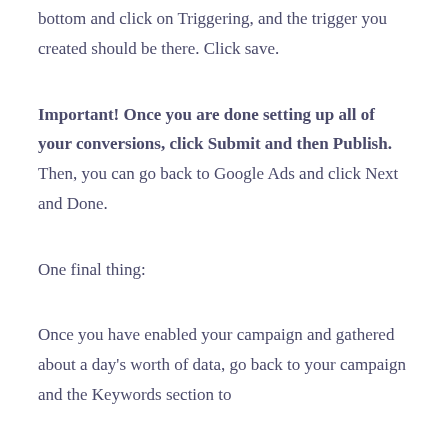bottom and click on Triggering, and the trigger you created should be there. Click save.
Important! Once you are done setting up all of your conversions, click Submit and then Publish. Then, you can go back to Google Ads and click Next and Done.
One final thing:
Once you have enabled your campaign and gathered about a day's worth of data, go back to your campaign and the Keywords section to